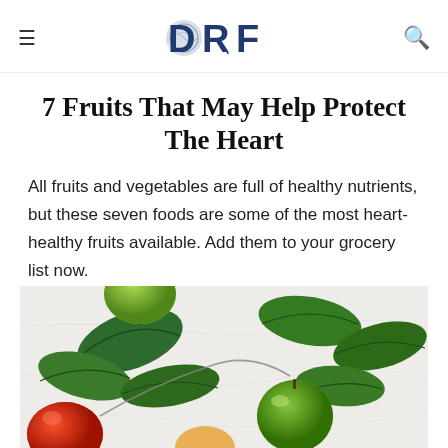≡  DRF  🔍
7 Fruits That May Help Protect The Heart
All fruits and vegetables are full of healthy nutrients, but these seven foods are some of the most heart-healthy fruits available. Add them to your grocery list now.
[Figure (photo): Photo of green and red apples with green leaves arranged on a light marble surface, viewed from above.]